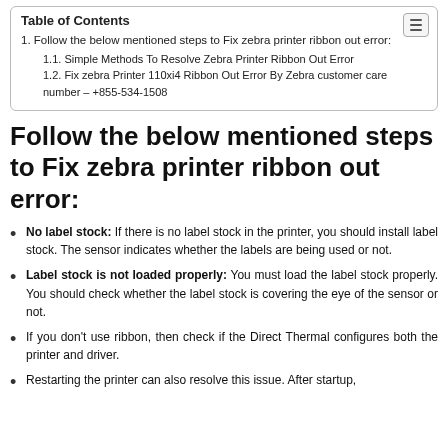Table of Contents
1. Follow the below mentioned steps to Fix zebra printer ribbon out error:
1.1. Simple Methods To Resolve Zebra Printer Ribbon Out Error
1.2. Fix zebra Printer 110xi4 Ribbon Out Error By Zebra customer care number – +855-534-1508
Follow the below mentioned steps to Fix zebra printer ribbon out error:
No label stock: If there is no label stock in the printer, you should install label stock. The sensor indicates whether the labels are being used or not.
Label stock is not loaded properly: You must load the label stock properly. You should check whether the label stock is covering the eye of the sensor or not.
If you don't use ribbon, then check if the Direct Thermal configures both the printer and driver.
Restarting the printer can also resolve this issue. After startup,